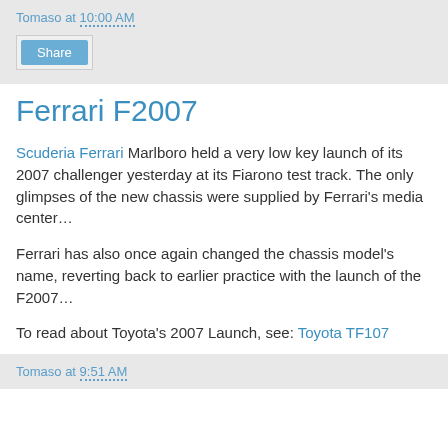Tomaso at 10:00 AM
Share
Ferrari F2007
Scuderia Ferrari Marlboro held a very low key launch of its 2007 challenger yesterday at its Fiarono test track. The only glimpses of the new chassis were supplied by Ferrari's media center…
Ferrari has also once again changed the chassis model's name, reverting back to earlier practice with the launch of the F2007…
To read about Toyota's 2007 Launch, see: Toyota TF107
Tomaso at 9:51 AM